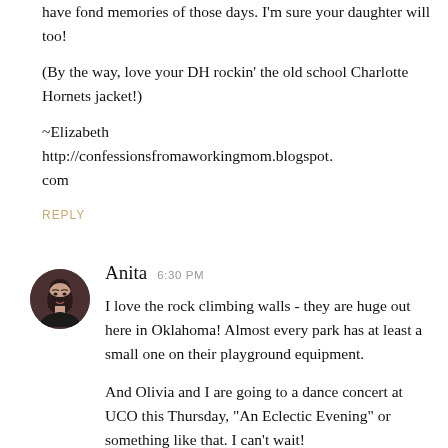have fond memories of those days. I'm sure your daughter will too!

(By the way, love your DH rockin' the old school Charlotte Hornets jacket!)

~Elizabeth
http://confessionsfromaworkingmom.blogspot.com
REPLY
[Figure (photo): Small circular avatar photo of Anita, a woman with dark hair against a dark background]
Anita  6:30 PM
I love the rock climbing walls - they are huge out here in Oklahoma! Almost every park has at least a small one on their playground equipment.

And Olivia and I are going to a dance concert at UCO this Thursday, "An Eclectic Evening" or something like that. I can't wait!
REPLY